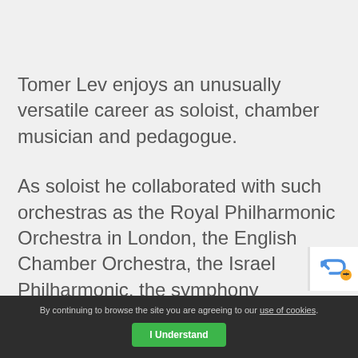Tomer Lev enjoys an unusually versatile career as soloist, chamber musician and pedagogue.
As soloist he collaborated with such orchestras as the Royal Philharmonic Orchestra in London, the English Chamber Orchestra, the Israel Philharmonic, the symphony orchestras of Hamburg, Sao Paulo, Buenos Aires, Tanglewood Festival, Varna Festival, Colorado, Quebec, Kiev and many others, including all major Israeli
By continuing to browse the site you are agreeing to our use of cookies. I Understand